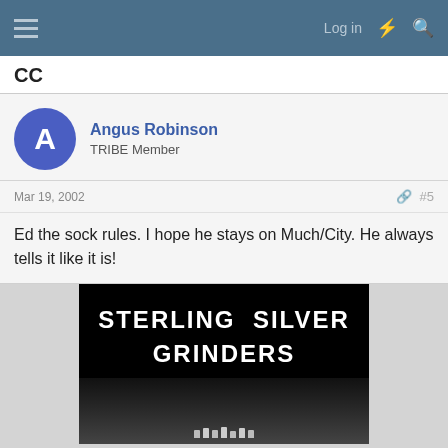Log in
CC
Angus Robinson
TRIBE Member
Mar 19, 2002   #5
Ed the sock rules. I hope he stays on Much/City. He always tells it like it is!
[Figure (photo): Black background image with white bold text reading 'STERLING SILVER GRINDERS', with a partial gear or grinder visible at the bottom]